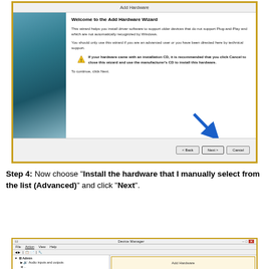[Figure (screenshot): Windows 'Add Hardware' wizard dialog showing welcome screen with sidebar, warning about installation CD, and Next button with blue arrow pointing to it]
Step 4: Now choose "Install the hardware that I manually select from the list (Advanced)" and click "Next".
[Figure (screenshot): Windows Device Manager window showing toolbar, menu bar (File, Action, View, Help), tree with Admin node containing Audio inputs and outputs, and Add Hardware panel on right]